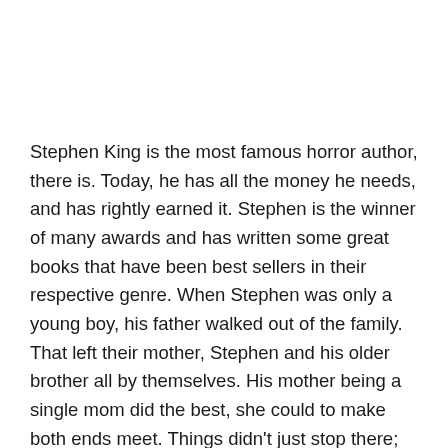Stephen King is the most famous horror author, there is. Today, he has all the money he needs, and has rightly earned it. Stephen is the winner of many awards and has written some great books that have been best sellers in their respective genre. When Stephen was only a young boy, his father walked out of the family. That left their mother, Stephen and his older brother all by themselves. His mother being a single mom did the best, she could to make both ends meet. Things didn't just stop there; Stephen's grandparents fell ill soon after. His aunt insisted his mom that she must take care of the grandparents. Without any solid income, Stephen's mom had to live on money that she